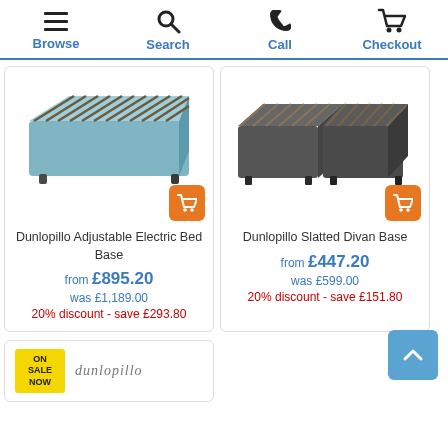Browse | Search | Call | Checkout
[Figure (photo): Dunlopillo Adjustable Electric Bed Base - blue/teal fabric base with slatted top]
Dunlopillo Adjustable Electric Bed Base
from £895.20
was £1,189.00
20% discount - save £293.80
[Figure (photo): Dunlopillo Slatted Divan Base - dark grey/charcoal fabric split divan base with slatted top]
Dunlopillo Slatted Divan Base
from £447.20
was £599.00
20% discount - save £151.80
[Figure (other): ON SALE NOW badge with dunlopillo logo - partial product card at bottom left]